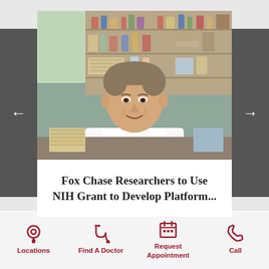[Figure (photo): A male physician/researcher in a white lab coat with a Fox Chase Cancer Center name badge, smiling, seated in a laboratory environment with shelves of supplies in the background.]
Fox Chase Researchers to Use NIH Grant to Develop Platform...
Locations
Find A Doctor
Request Appointment
Call